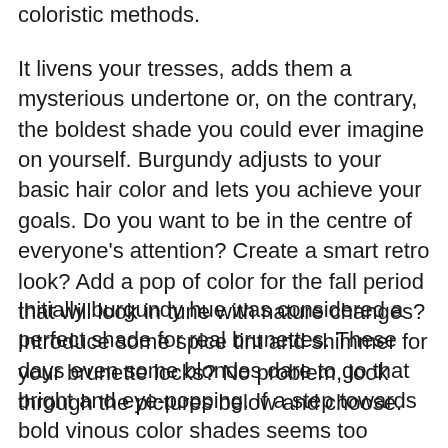coloristic methods.
It livens your tresses, adds them a mysterious undertone or, on the contrary, the boldest shade you could ever imagine on yourself. Burgundy adjusts to your basic hair color and lets you achieve your goals. Do you want to be in the centre of everyone's attention? Create a smart retro look? Add a pop of color for the fall period that will look in tune with nature changes? Introduce some spice tint and shimmer for your brunette locks? No problem, look through the pictures below and choose.
Initially burgundy hue was considered a perfect shade for real brunettes. These days even some blondes dare to go that bright and eye-popping. If a step towards bold vinous color shades seems too challenging for now, but you are tempted to try something revolutionary, consider